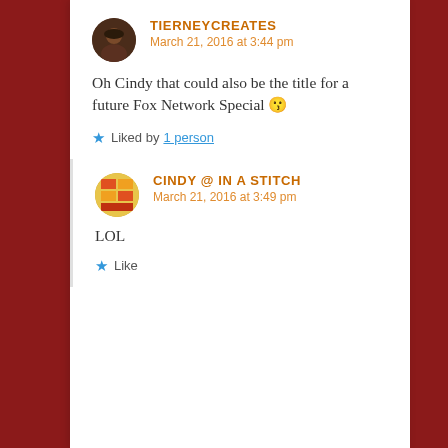TIERNEYCREATES
March 21, 2016 at 3:44 pm
Oh Cindy that could also be the title for a future Fox Network Special 😉
★ Liked by 1 person
CINDY @ IN A STITCH
March 21, 2016 at 3:49 pm
LOL
★ Like